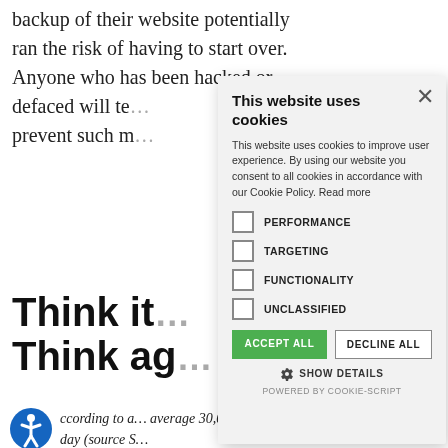backup of their website potentially ran the risk of having to start over. Anyone who has been hacked or defaced will te… prevent such m…
Think it… Think ag…
ccording to a… average 30,0… day (source S… to any users p… Imagine how m… Better yet, do… on this website…
[Figure (other): Cookie consent modal dialog with title 'This website uses cookies', description text, checkboxes for PERFORMANCE, TARGETING, FUNCTIONALITY, UNCLASSIFIED, ACCEPT ALL and DECLINE ALL buttons, SHOW DETAILS link, and POWERED BY COOKIE-SCRIPT footer.]